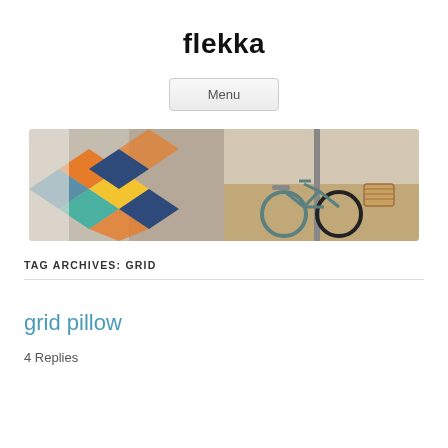flekka
[Figure (other): Navigation menu button labeled Menu]
[Figure (photo): Banner image showing a colorful patchwork quilt on the left half and a teal bicycle parked on a sandy beach on the right half]
TAG ARCHIVES: GRID
grid pillow
4 Replies